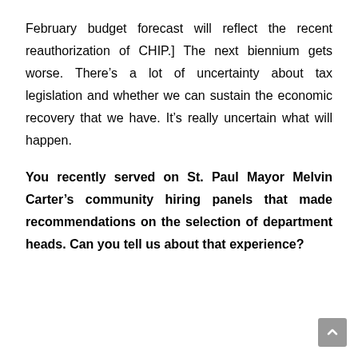February budget forecast will reflect the recent reauthorization of CHIP.] The next biennium gets worse. There's a lot of uncertainty about tax legislation and whether we can sustain the economic recovery that we have. It's really uncertain what will happen.
You recently served on St. Paul Mayor Melvin Carter's community hiring panels that made recommendations on the selection of department heads. Can you tell us about that experience?